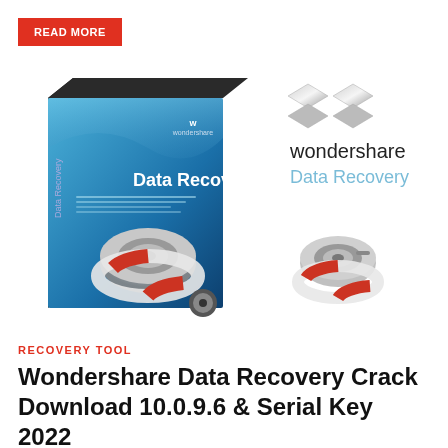READ MORE
[Figure (illustration): Wondershare Data Recovery software box on the left showing a hard drive with a life preserver ring, and on the right the Wondershare Data Recovery logo with diamond icons above the text and a small hard drive with life preserver ring below]
RECOVERY TOOL
Wondershare Data Recovery Crack Download 10.0.9.6 & Serial Key 2022